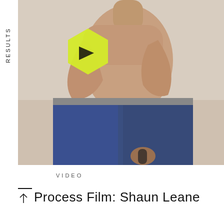RESULTS
[Figure (photo): Shirtless person sitting with arms crossed, wearing dark jeans, photographed from waist up against a light grey/beige studio background. A yellow-green hexagonal play button overlay appears in the upper left of the image.]
VIDEO
Process Film: Shaun Leane